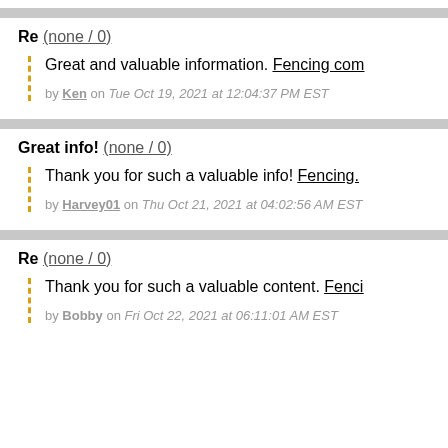Re (none / 0)
Great and valuable information. Fencing com…
by Ken on Tue Oct 19, 2021 at 12:04:37 PM EST
Great info! (none / 0)
Thank you for such a valuable info! Fencing…
by Harvey01 on Thu Oct 21, 2021 at 04:02:56 AM EST
Re (none / 0)
Thank you for such a valuable content. Fenci…
by Bobby on Fri Oct 22, 2021 at 06:11:01 AM EST